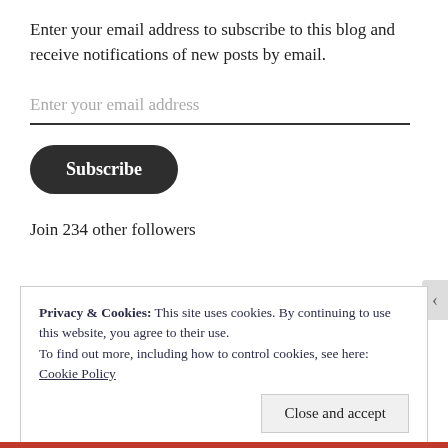Enter your email address to subscribe to this blog and receive notifications of new posts by email.
Enter your email address
Subscribe
Join 234 other followers
Privacy & Cookies: This site uses cookies. By continuing to use this website, you agree to their use.
To find out more, including how to control cookies, see here: Cookie Policy
Close and accept